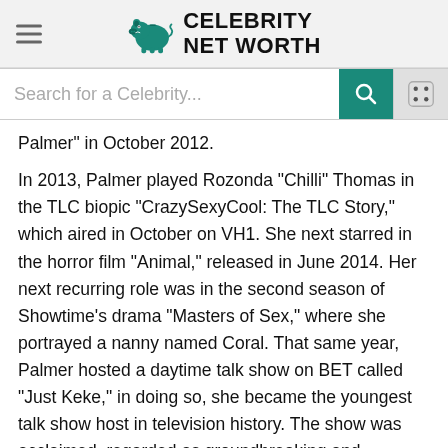Celebrity Net Worth
Palmer" in October 2012.
In 2013, Palmer played Rozonda "Chilli" Thomas in the TLC biopic "CrazySexyCool: The TLC Story," which aired in October on VH1. She next starred in the horror film "Animal," released in June 2014. Her next recurring role was in the second season of Showtime's drama "Masters of Sex," where she portrayed a nanny named Coral. That same year, Palmer hosted a daytime talk show on BET called "Just Keke," in doing so, she became the youngest talk show host in television history. The show was acclaimed, regarded as groundbreaking and refreshing. Later that year, she announced she had signed with Island Records. Between September 2015